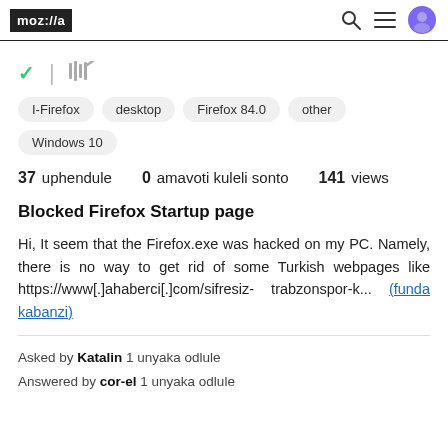moz://a
I-Firefox
desktop
Firefox 84.0
other
Windows 10
37 uphendule 0 amavoti kuleli sonto 141 views
Blocked Firefox Startup page
Hi, It seem that the Firefox.exe was hacked on my PC. Namely, there is no way to get rid of some Turkish webpages like https://www[.]ahaberci[.]com/sifresiz-trabzonspor-k... (funda kabanzi)
Asked by Katalin 1 unyaka odlule
Answered by cor-el 1 unyaka odlule